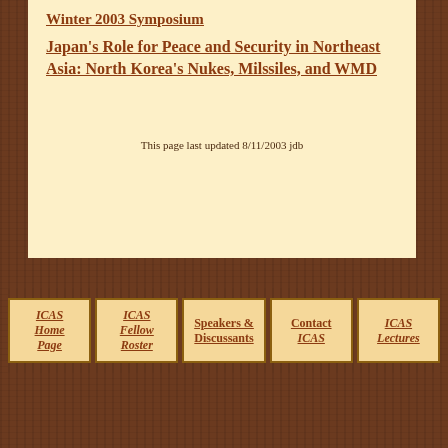Winter 2003 Symposium
Japan's Role for Peace and Security in Northeast Asia: North Korea's Nukes, Milssiles, and WMD
This page last updated 8/11/2003 jdb
ICAS Home Page | ICAS Fellow Roster | Speakers & Discussants | Contact ICAS | ICAS Lectures